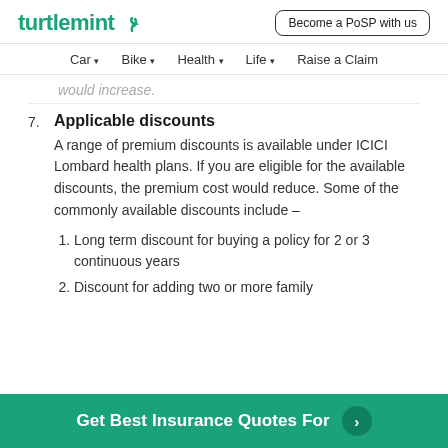turtlemint | Become a PoSP with us
Car  Bike  Health  Life  Raise a Claim
would increase.
7. Applicable discounts
A range of premium discounts is available under ICICI Lombard health plans. If you are eligible for the available discounts, the premium cost would reduce. Some of the commonly available discounts include –
1. Long term discount for buying a policy for 2 or 3 continuous years
2. Discount for adding two or more family
Get Best Insurance Quotes For